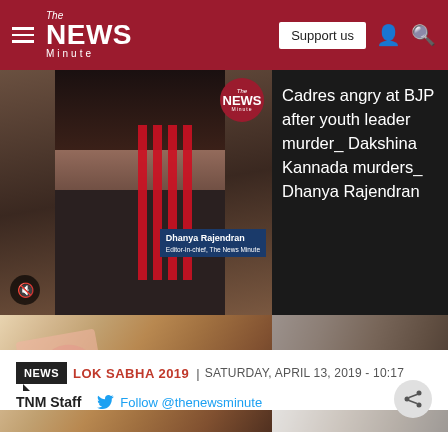The News Minute — Support us
[Figure (screenshot): Video thumbnail showing Dhanya Rajendran, Editor-in-chief of The News Minute, with red vertical bars overlay and name tag. The News Minute logo circle visible top right of video frame. Mute button at bottom left.]
Cadres angry at BJP after youth leader murder_ Dakshina Kannada murders_ Dhanya Rajendran
[Figure (photo): Close-up photo of hands handling what appears to be orange and pink fabric or cloth items]
[Figure (photo): Close-up photo of a man's face and white shirt, partial view]
NEWS  LOK SABHA 2019 |  SATURDAY, APRIL 13, 2019 - 10:17
TNM Staff   Follow @thenewsminute